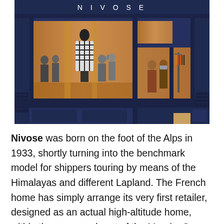[Figure (photo): Exterior photo of the Nivose store. Dark navy blue storefront with large glass display windows showing a mannequin in a patterned jacket and customers inside. The store sign reads NIVOSE in white letters above the windows. Interior is warmly lit with wooden floors and clothing racks visible.]
Nivose was born on the foot of the Alps in 1933, shortly turning into the benchmark model for shippers touring by means of the Himalayas and different Lapland. The French home has simply arrange its very first retailer, designed as an actual high-altitude home, within the coronary heart of the Marais. On this system: ultra-couture down